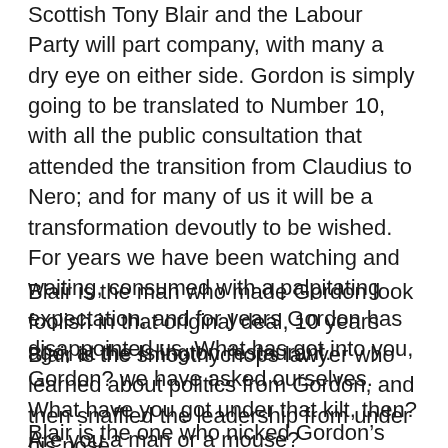Scottish Tony Blair and the Labour Party will part company, with many a dry eye on either side. Gordon is simply going to be translated to Number 10, with all the public consultation that attended the transition from Claudius to Nero; and for many of us it will be a transformation devoutly to be wished. For years we have been watching and waiting, consumed with a palpitating expectation, and for years Gordon has disappointed us. What has got into you, Gordon? we have asked ourselves. What have you got under that kilt, then? Are you a man or a mouse?
Blair is the man who made Gordon look foolish in that original deal, 10 years ago, at the Islington restaurant.
Blair is the smoothychops lawyer who learned about politics from Gordon, and then snaffled the leadership from under his nose.
Blair is the one who nicked Gordon's best soundbite – tough